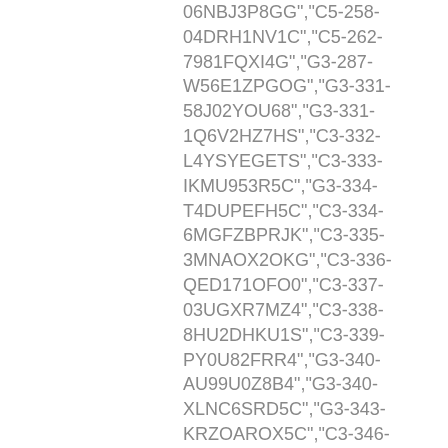06NBJ3P8GG","C5-258-04DRH1NV1C","C5-262-7981FQXI4G","G3-287-W56E1ZPGOG","G3-331-58J02YOU68","G3-331-1Q6V2HZ7HS","C3-332-L4YSYEGETS","C3-333-IKMU953R5C","G3-334-T4DUPEFH5C","C3-334-6MGFZBPRJK","C3-335-3MNAOX2OKG","C3-336-QED171OFO0","C3-337-03UGXR7MZ4","C3-338-8HU2DHKU1S","C3-339-PY0U82FRR4","G3-340-AU99U0Z8B4","G3-340-XLNC6SRD5C","G3-343-KRZOAROX5C","C3-346-HB15W1D48G","C3-347-FJ1G4SDJPC","C3-349-6KLY3GVKV4","C3-350-1W57XKXCFK","G7-353-S4MP65ES68","G7-353-CTHJ676LPC","G7-354-BY9J4MG2OW","G7-354-9ZZYFQB1G0","G7-355-IS18LR0M80","G7-355-